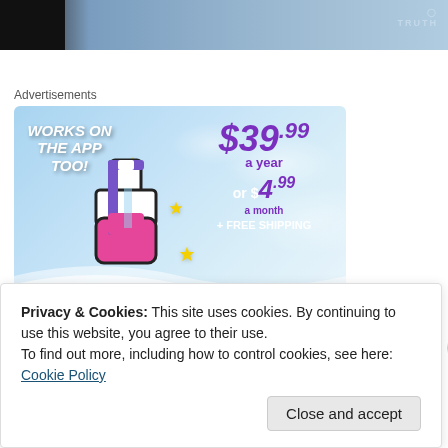[Figure (photo): Top portion of a webpage showing a partial photo of a person in a light blue shirt, with 'TRUTH' text visible in the upper right corner]
Advertisements
[Figure (infographic): Advertisement banner with sky background showing Tumblr logo. Text reads 'WORKS ON THE APP TOO!' on the left, large colorful Tumblr 't' logo in center with yellow sparkle stars, and pricing '$39.99 a year or $4.99 a month + FREE SHIPPING' on the right in purple and white text.]
Privacy & Cookies: This site uses cookies. By continuing to use this website, you agree to their use.
To find out more, including how to control cookies, see here: Cookie Policy
Close and accept